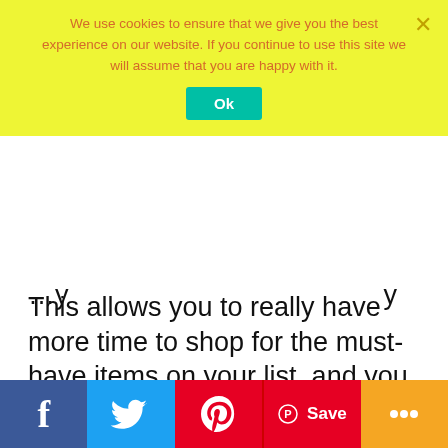We use cookies to ensure that we give you the best experience on our website. If you continue to use this site we will assume that you are happy with it.
Ok
This allows you to really have more time to shop for the must-have items on your list, and you don't have to leave your home. Plus you can even shop the “Countdown to Black Friday” deals that start in November. It gives you a longer window of opportunity to buy the items on your holiday gift lists. Plus you don't have to wake up and head out to the stores in hopes you can grab one of the 100 items you